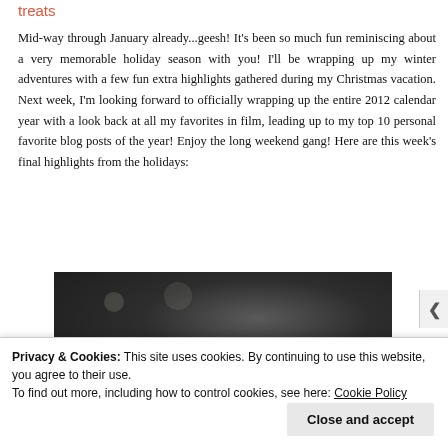treats
Mid-way through January already...geesh! It's been so much fun reminiscing about a very memorable holiday season with you! I'll be wrapping up my winter adventures with a few fun extra highlights gathered during my Christmas vacation. Next week, I'm looking forward to officially wrapping up the entire 2012 calendar year with a look back at all my favorites in film, leading up to my top 10 personal favorite blog posts of the year! Enjoy the long weekend gang! Here are this week's final highlights from the holidays:
[Figure (photo): Dark moody photograph with bokeh lighting effects, appears to show glasses or decorative objects in low light]
Privacy & Cookies: This site uses cookies. By continuing to use this website, you agree to their use.
To find out more, including how to control cookies, see here: Cookie Policy
Close and accept